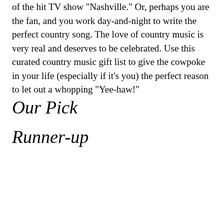of the hit TV show "Nashville." Or, perhaps you are the fan, and you work day-and-night to write the perfect country song. The love of country music is very real and deserves to be celebrated. Use this curated country music gift list to give the cowpoke in your life (especially if it's you) the perfect reason to let out a whopping "Yee-haw!"
Our Pick
Runner-up
[Figure (photo): A white/silver cowboy hat product photo shown with a green SALE badge in the top right corner of the image box.]